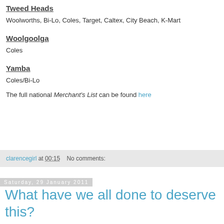Tweed Heads
Woolworths, Bi-Lo, Coles, Target, Caltex, City Beach, K-Mart
Woolgoolga
Coles
Yamba
Coles/Bi-Lo
The full national Merchant's List can be found here
clarencegirl at 00:15   No comments:
Saturday, 29 January 2011
What have we all done to deserve this?